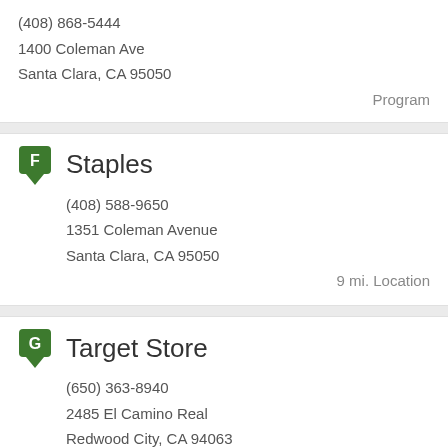(408) 868-5444
1400 Coleman Ave
Santa Clara, CA 95050
Program
Staples
(408) 588-9650
1351 Coleman Avenue
Santa Clara, CA 95050
9 mi. Location
Target Store
(650) 363-8940
2485 El Camino Real
Redwood City, CA 94063
9 mi. Location